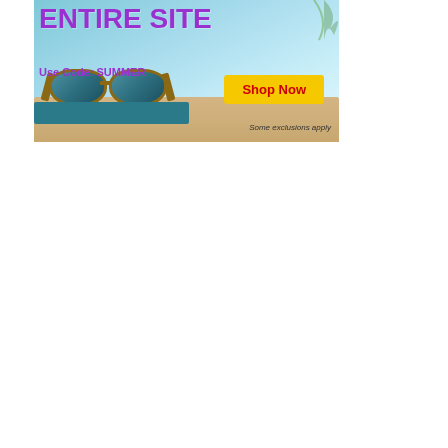[Figure (infographic): Summer sale advertisement banner showing sunglasses on a book at a beach, with text 'ENTIRE SITE', 'Use Code: SUMMER', 'Shop Now' button, and 'Some exclusions apply']
[Figure (infographic): Bookstore rebranding advertisement with countryside/field background, text 'WE'VE CHANGED OUR NAME...BUT KEPT EVERYTHING ELSE' and a book with a 'C' logo]